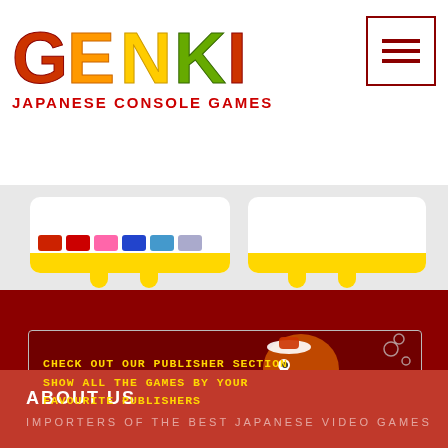[Figure (logo): GENKI Japanese Console Games logo with colorful text and red subtitle]
[Figure (other): Hamburger/menu button with dark red border and three horizontal lines]
[Figure (other): Product card with payment icons and yellow drip bar at bottom]
[Figure (other): Blank product card with yellow drip bar at bottom]
[Figure (other): Publisher section banner with octopus character on dark red background, text: CHECK OUT OUR PUBLISHER SECTION SHOW ALL THE GAMES BY YOUR FAVOURITE PUBLISHERS]
ABOUT US
IMPORTERS OF THE BEST JAPANESE VIDEO GAMES